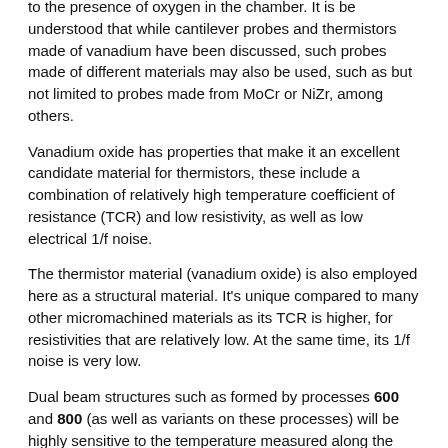to the presence of oxygen in the chamber. It is be understood that while cantilever probes and thermistors made of vanadium have been discussed, such probes made of different materials may also be used, such as but not limited to probes made from MoCr or NiZr, among others.
Vanadium oxide has properties that make it an excellent candidate material for thermistors, these include a combination of relatively high temperature coefficient of resistance (TCR) and low resistivity, as well as low electrical 1/f noise.
The thermistor material (vanadium oxide) is also employed here as a structural material. It's unique compared to many other micromachined materials as its TCR is higher, for resistivities that are relatively low. At the same time, its 1/f noise is very low.
Dual beam structures such as formed by processes 600 and 800 (as well as variants on these processes) will be highly sensitive to the temperature measured along the beam. Due to the fact that the beam is lifted out of the plane and is very thin, the necessary thermal insulation